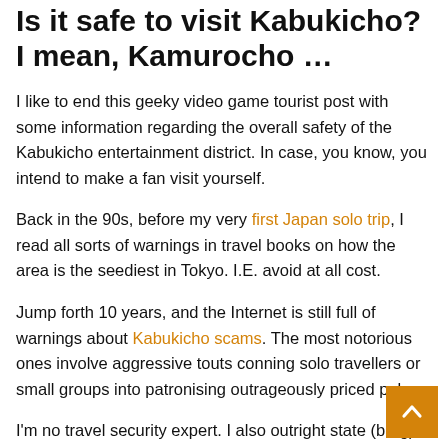Is it safe to visit Kabukicho? I mean, Kamurocho …
I like to end this geeky video game tourist post with some information regarding the overall safety of the Kabukicho entertainment district. In case, you know, you intend to make a fan visit yourself.
Back in the 90s, before my very first Japan solo trip, I read all sorts of warnings in travel books on how the area is the seediest in Tokyo. I.E. avoid at all cost.
Jump forth 10 years, and the Internet is still full of warnings about Kabukicho scams. The most notorious ones involve aggressive touts conning solo travellers or small groups into patronising outrageously priced pubs.
I'm no travel security expert. I also outright state (brag) tha…